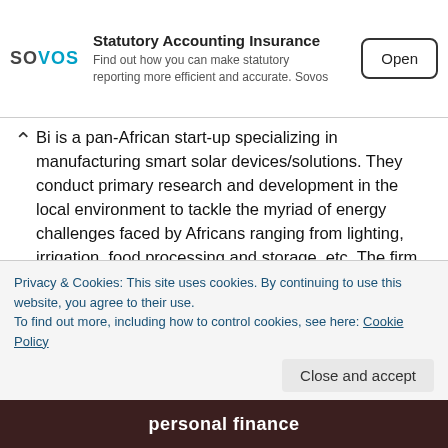[Figure (screenshot): Sovos advertisement banner with logo, text about Statutory Accounting Insurance, and an Open button]
Bi is a pan-African start-up specializing in manufacturing smart solar devices/solutions. They conduct primary research and development in the local environment to tackle the myriad of energy challenges faced by Africans ranging from lighting, irrigation, food processing and storage, etc. The firm leverage solar energy, IoT, Big Data, Cloud computing, mobile payment Pay-As-You-Go (PAYGo), localised content and a plethora of modern technologies which make our devices 'smart'. This way, they help customers become productive and efficient while lowering their operational costs.
Privacy & Cookies: This site uses cookies. By continuing to use this website, you agree to their use.
To find out more, including how to control cookies, see here: Cookie Policy
personal finance